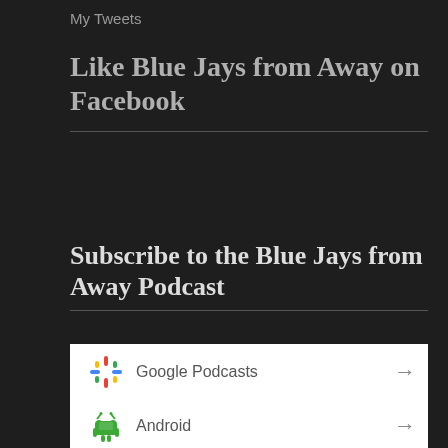My Tweets
Like Blue Jays from Away on Facebook
Subscribe to the Blue Jays from Away Podcast
Google Podcasts
Android
by Email